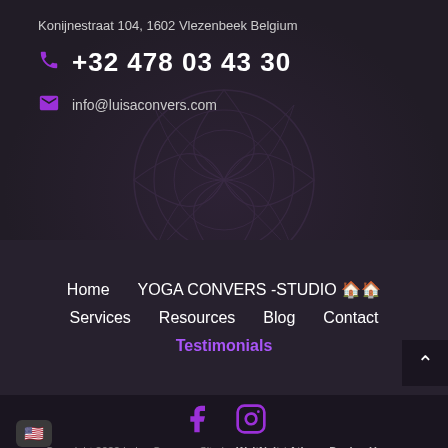Konijnestraat 104, 1602 Vlezenbeek Belgium
+32 478 03 43 30
info@luisaconvers.com
Home | YOGA CONVERS -STUDIO 🏠🏠 | Services | Resources | Blog | Contact | Testimonials
[Figure (logo): Facebook icon, purple]
[Figure (logo): Instagram icon, purple]
Copyright 2022 Luisa Convers. Site by WajtNajt / Athena Design House